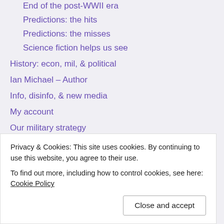End of the post-WWII era
Predictions: the hits
Predictions: the misses
Science fiction helps us see
History: econ, mil, & political
Ian Michael – Author
Info, disinfo, & new media
My account
Our military strategy
About intelligence agencies
About our wars since 9/11
An Army near breaking?
military reform way of war
Privacy & Cookies: This site uses cookies. By continuing to use this website, you agree to their use.
To find out more, including how to control cookies, see here: Cookie Policy
Close and accept